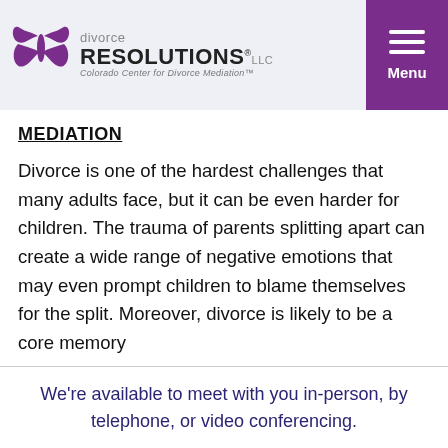divorce RESOLUTIONS LLC — Colorado Center for Divorce Mediation™ | Menu
MEDIATION
Divorce is one of the hardest challenges that many adults face, but it can be even harder for children. The trauma of parents splitting apart can create a wide range of negative emotions that may even prompt children to blame themselves for the split. Moreover, divorce is likely to be a core memory
We're available to meet with you in-person, by telephone, or video conferencing.
✕ Close